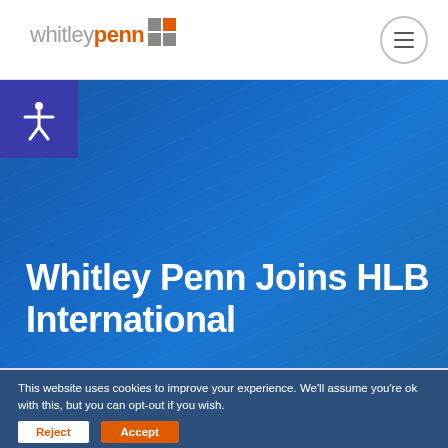[Figure (logo): Whitley Penn logo with gray 'whitley' text, orange 'penn' text, and a grey/orange grid square icon]
[Figure (other): Hamburger menu button — circle with three horizontal lines]
[Figure (other): Blue hero banner with diagonal texture lines and accessibility icon (person with arms out) in purple box at top left]
Whitley Penn Joins HLB International
This website uses cookies to improve your experience. We'll assume you're ok with this, but you can opt-out if you wish.